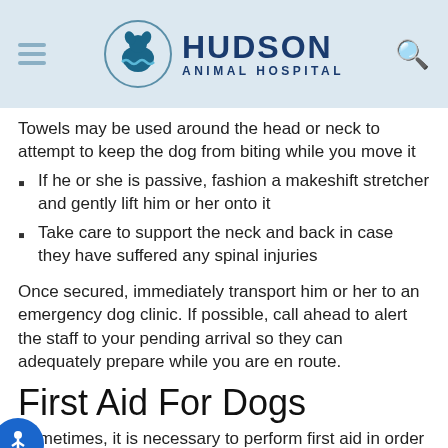Hudson Animal Hospital
Towels may be used around the head or neck to attempt to keep the dog from biting while you move it
If he or she is passive, fashion a makeshift stretcher and gently lift him or her onto it
Take care to support the neck and back in case they have suffered any spinal injuries
Once secured, immediately transport him or her to an emergency dog clinic. If possible, call ahead to alert the staff to your pending arrival so they can adequately prepare while you are en route.
First Aid For Dogs
Sometimes, it is necessary to perform first aid in order